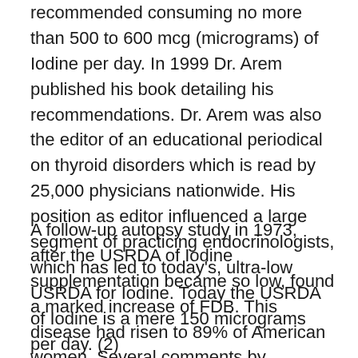recommended consuming no more than 500 to 600 mcg (micrograms) of Iodine per day. In 1999 Dr. Arem published his book detailing his recommendations. Dr. Arem was also the editor of an educational periodical on thyroid disorders which is read by 25,000 physicians nationwide. His position as editor influenced a large segment of practicing endocrinologists, which has led to today's, ultra-low USRDA for Iodine. Today the USRDA of Iodine is a mere 150 micrograms per day. (2)
A follow-up autopsy study in 1973, after the USRDA of Iodine supplementation became so low, found a marked increase of FDB. This disease had risen to 89% of American women. Several comments by knowledgeable doctors contribute this alarming rise of FDB to the current, ultra-low levels of daily